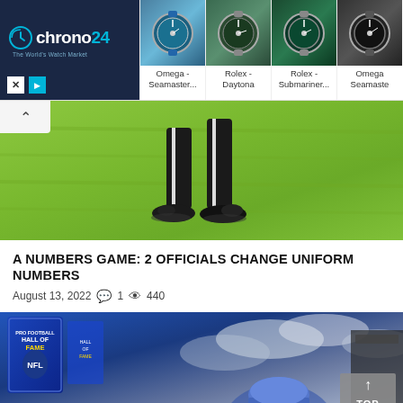[Figure (screenshot): Chrono24 advertisement banner showing watch marketplace logo on dark blue background on the left, and four watch product images with labels: Omega - Seamaster..., Rolex - Daytona, Rolex - Submariner..., Omega - Seamaste]
[Figure (photo): Photo of a person's legs walking on green grass field, wearing black pants with white stripe and black sneakers]
A NUMBERS GAME: 2 OFFICIALS CHANGE UNIFORM NUMBERS
August 13, 2022   1   440
[Figure (photo): Photo of a person wearing a blue cap at what appears to be an NFL Hall of Fame event with banners and signs visible, overcast sky. A 'TOP' back-to-top button overlay visible in bottom right corner.]